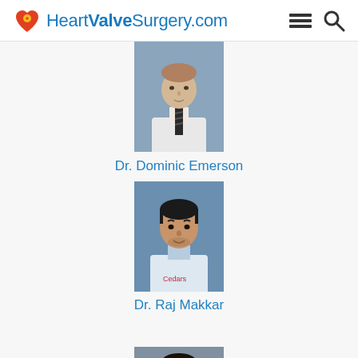HeartValveSurgery.com
[Figure (photo): Portrait photo of Dr. Dominic Emerson in white coat with striped tie against blue-gray background]
Dr. Dominic Emerson
[Figure (photo): Portrait photo of Dr. Raj Makkar in white coat against blue background]
Dr. Raj Makkar
[Figure (photo): Partial portrait photo of a third doctor, partially cut off at bottom of page]